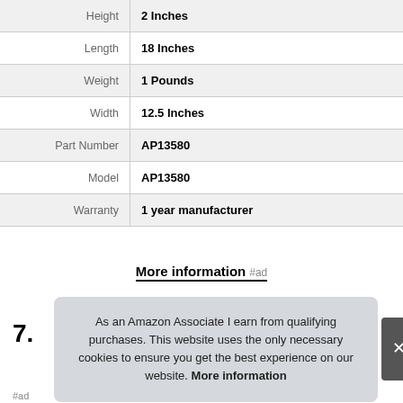| Attribute | Value |
| --- | --- |
| Height | 2 Inches |
| Length | 18 Inches |
| Weight | 1 Pounds |
| Width | 12.5 Inches |
| Part Number | AP13580 |
| Model | AP13580 |
| Warranty | 1 year manufacturer |
More information #ad
7.
As an Amazon Associate I earn from qualifying purchases. This website uses the only necessary cookies to ensure you get the best experience on our website. More information
#ad